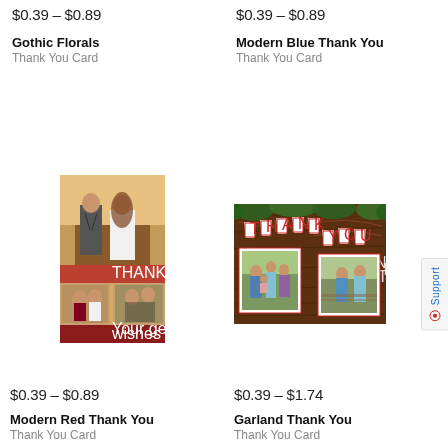$0.39 – $0.89
Gothic Florals
Thank You Card
$0.39 – $0.89
Modern Blue Thank You
Thank You Card
[Figure (photo): Modern Red Thank You card showing a couple sitting outdoors with wedding photos collage and text 'THANK YOU', cursive message from Karen & Nelson Eusabio on red background]
$0.39 – $0.89
Modern Red Thank You
Thank You Card
[Figure (photo): Garland Thank You card with rustic wood background, bunting banner spelling THANK YOU, two family photo frames]
$0.39 – $1.74
Garland Thank You
Thank You Card